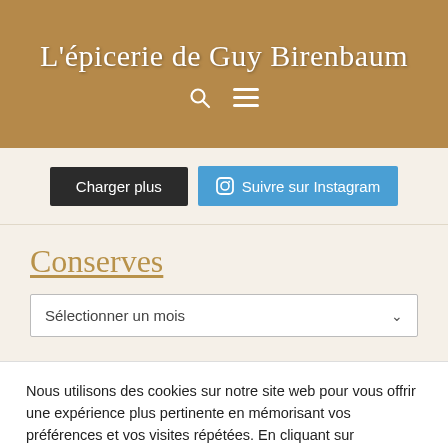L'épicerie de Guy Birenbaum
[Figure (screenshot): Two buttons: 'Charger plus' (dark) and 'Suivre sur Instagram' (blue with Instagram icon)]
Conserves
Sélectionner un mois
Nous utilisons des cookies sur notre site web pour vous offrir une expérience plus pertinente en mémorisant vos préférences et vos visites répétées. En cliquant sur "Accepter", vous consentez à l'utilisation de TOUS les cookies.
Paramètres des cookies  Accepter  Rejeter